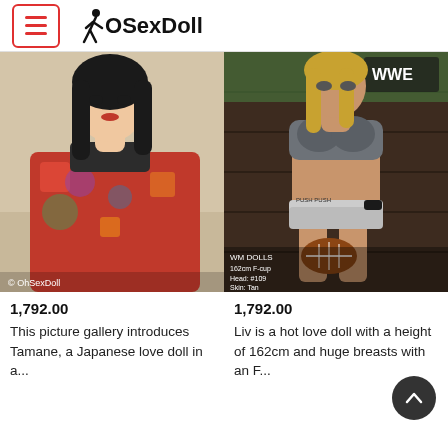OhSexDoll
[Figure (photo): Photo of a Japanese-style love doll wearing a red floral kimono with black hair]
[Figure (photo): Photo of a blonde love doll in a grey sports bra and underwear holding an American football, with WM DOLLS watermark text]
1,792.00
1,792.00
This picture gallery introduces Tamane, a Japanese love doll in a...
Liv is a hot love doll with a height of 162cm and huge breasts with an F...